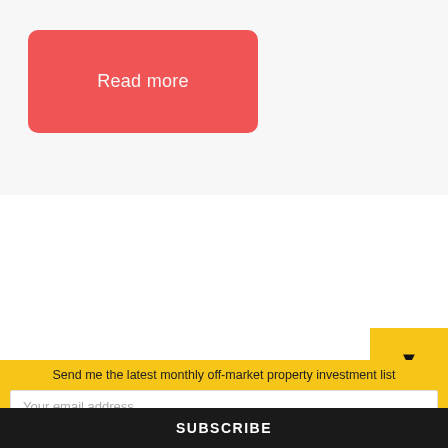Read more
Send me the latest monthly off-market property investment list
Your email address..
SUBSCRIBE